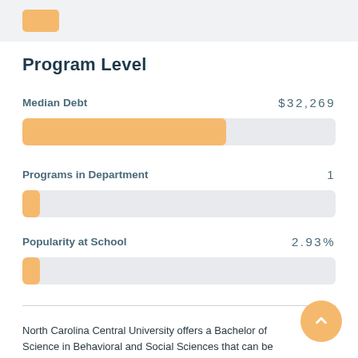[Figure (other): Orange rounded rectangle icon in top navigation bar]
Program Level
Median Debt $32,269
[Figure (bar-chart): Median Debt bar]
Programs in Department 1
[Figure (bar-chart): Programs in Department bar]
Popularity at School 2.93%
[Figure (bar-chart): Popularity at School bar]
North Carolina Central University offers a Bachelor of Science in Behavioral and Social Sciences that can be